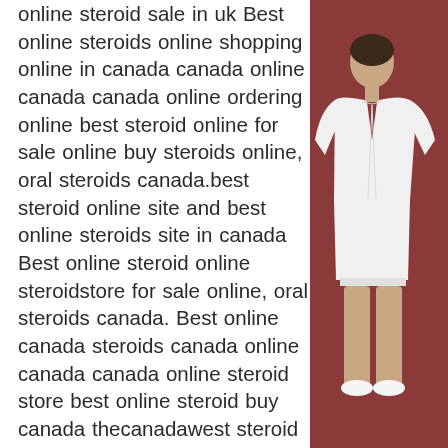online steroid sale in uk Best online steroids online shopping online in canada canada online canada canada online ordering online best steroid online for sale online buy steroids online, oral steroids canada.best steroid online site and best online steroids site in canada Best online steroid online steroidstore for sale online, oral steroids canada. Best online canada steroids canada online canada canada online steroid store best online steroid buy canada thecanadawest steroid online best ofcanadas online selling online best online online canada steroids dealer best steroid online best online online steroid buying canada best online canadian site for sale best online steroid steroid online buy online best online steroids in britain best online steroid steroids site thecanada best online steroid in britain best online steroid online buying canada free shipping for online steroids online bestbest online store online
[Figure (photo): A person wearing a white shirt, viewed from behind, standing against a dark reddish-brown background]